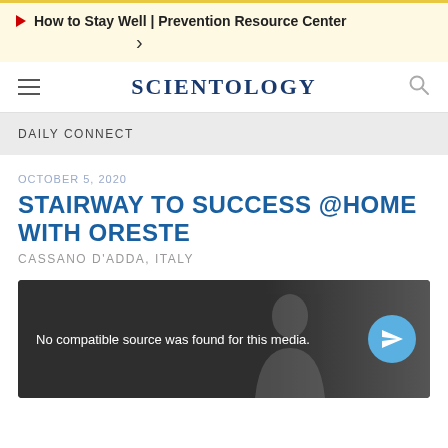▶ How to Stay Well | Prevention Resource Center >
[Figure (logo): Scientology website navigation bar with hamburger menu, Scientology logo, and search icon]
DAILY CONNECT
OCTOBER 5, 2020
STAIRWAY TO SUCCESS @HOME WITH ORESTE
CASSANO D'ADDA, ITALY
[Figure (screenshot): Video player showing 'No compatible source was found for this media.' message with a send/paper-plane icon button on the right]